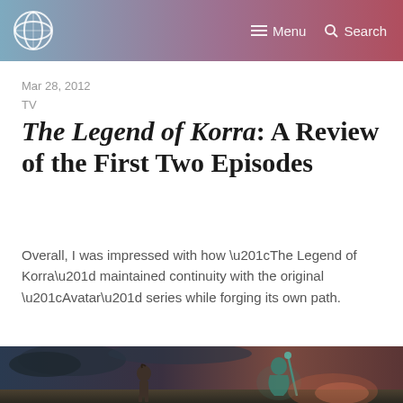Menu  Search
Mar 28, 2012
TV
The Legend of Korra: A Review of the First Two Episodes
Overall, I was impressed with how “The Legend of Korra” maintained continuity with the original “Avatar” series while forging its own path.
[Figure (illustration): Animated scene from The Legend of Korra showing Korra and another character (Aang's statue or airbender) against a dramatic sky background]